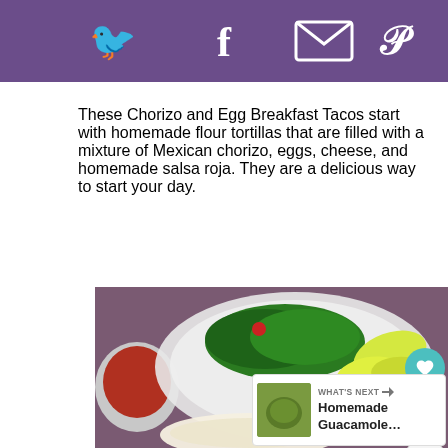[Figure (infographic): Purple social sharing bar with Twitter, Facebook, email, and Pinterest icons]
These Chorizo and Egg Breakfast Tacos start with homemade flour tortillas that are filled with a mixture of Mexican chorizo, eggs, cheese, and homemade salsa roja. They are a delicious way to start your day.
[Figure (photo): Food photo showing a plate with green herbs (chives/cilantro), lime/lemon wedges, and a bowl of red salsa on the left, with tortillas at the bottom. Purple tablecloth background. Sidebar shows a heart button with count 1 and a share button. A 'What's Next' overlay shows Homemade Guacamole with a green thumbnail.]